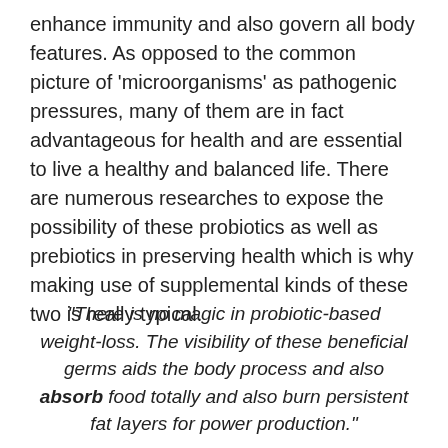enhance immunity and also govern all body features. As opposed to the common picture of ‘microorganisms’ as pathogenic pressures, many of them are in fact advantageous for health and are essential to live a healthy and balanced life. There are numerous researches to expose the possibility of these probiotics as well as prebiotics in preserving health which is why making use of supplemental kinds of these two is really typical.
“There is no magic in probiotic-based weight-loss. The visibility of these beneficial germs aids the body process and also absorb food totally and also burn persistent fat layers for power production.”